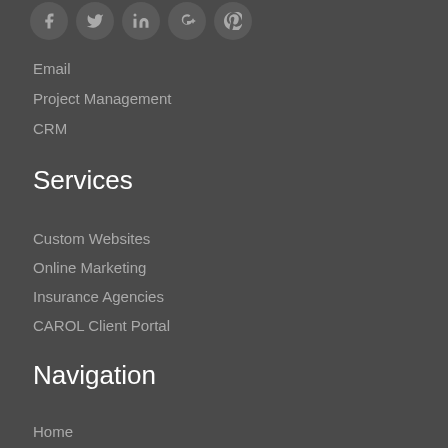[Figure (illustration): Row of 5 circular social media icon buttons in dark gray]
Email
Project Management
CRM
Services
Custom Websites
Online Marketing
Insurance Agencies
CAROL Client Portal
Navigation
Home
Services
Clients
Pricing
Bl…